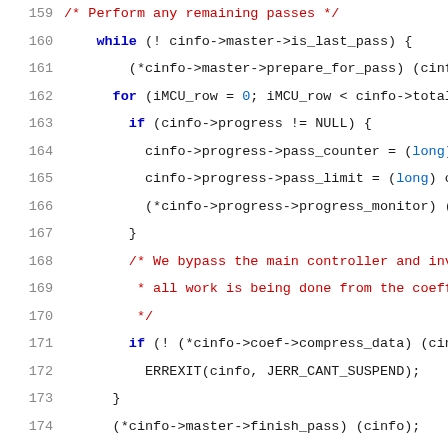Source code listing, lines 159-180, C language, showing JPEG compression loop logic